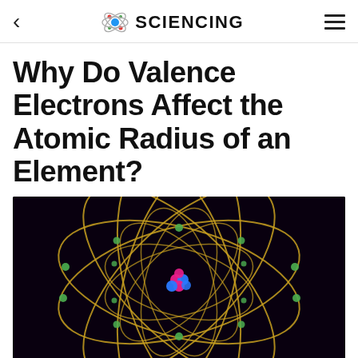SCIENCING
Why Do Valence Electrons Affect the Atomic Radius of an Element?
[Figure (illustration): Dark background illustration of an atom model showing golden orbital rings sweeping around a central nucleus made of pink and blue particles, with green electrons dotted along the orbital paths.]